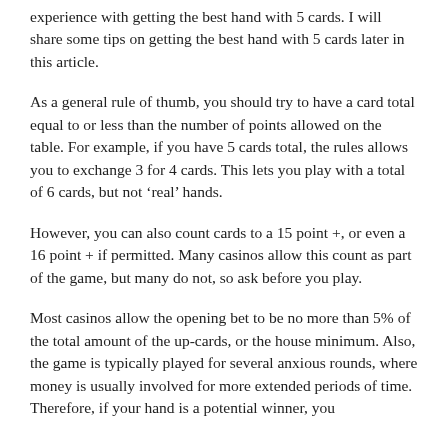experience with getting the best hand with 5 cards. I will share some tips on getting the best hand with 5 cards later in this article.
As a general rule of thumb, you should try to have a card total equal to or less than the number of points allowed on the table. For example, if you have 5 cards total, the rules allows you to exchange 3 for 4 cards. This lets you play with a total of 6 cards, but not ‘real’ hands.
However, you can also count cards to a 15 point +, or even a 16 point + if permitted. Many casinos allow this count as part of the game, but many do not, so ask before you play.
Most casinos allow the opening bet to be no more than 5% of the total amount of the up-cards, or the house minimum. Also, the game is typically played for several anxious rounds, where money is usually involved for more extended periods of time. Therefore, if your hand is a potential winner, you